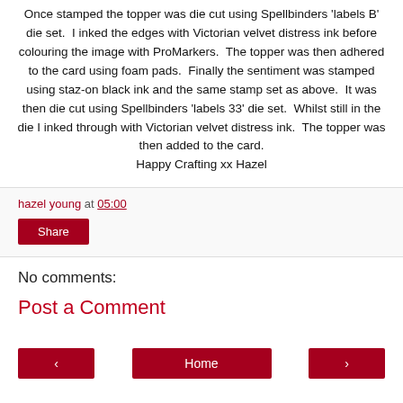Once stamped the topper was die cut using Spellbinders 'labels B' die set.  I inked the edges with Victorian velvet distress ink before colouring the image with ProMarkers.  The topper was then adhered to the card using foam pads.  Finally the sentiment was stamped using staz-on black ink and the same stamp set as above.  It was then die cut using Spellbinders 'labels 33' die set.  Whilst still in the die I inked through with Victorian velvet distress ink.  The topper was then added to the card.
Happy Crafting xx Hazel
hazel young at 05:00
Share
No comments:
Post a Comment
‹  Home  ›